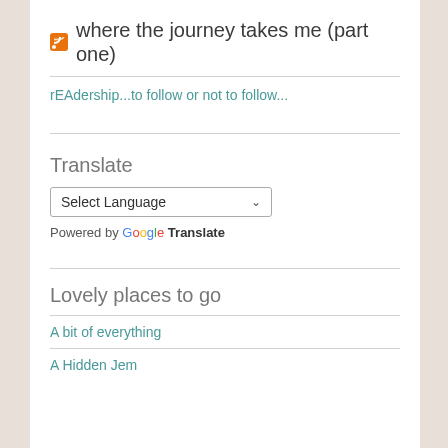where the journey takes me (part one)
rEAdership...to follow or not to follow...
Translate
Select Language
Powered by Google Translate
Lovely places to go
A bit of everything
A Hidden Jem